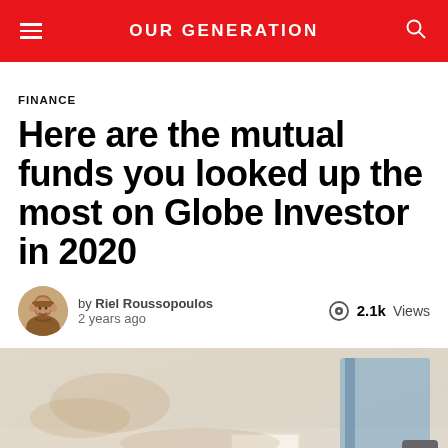OUR GENERATION
FINANCE
Here are the mutual funds you looked up the most on Globe Investor in 2020
by Riel Roussopoulos
2 years ago
2.1k Views
[Figure (photo): Blurred desk scene showing a book or booklet labeled ETFs, with a blue binder in the background on the right]